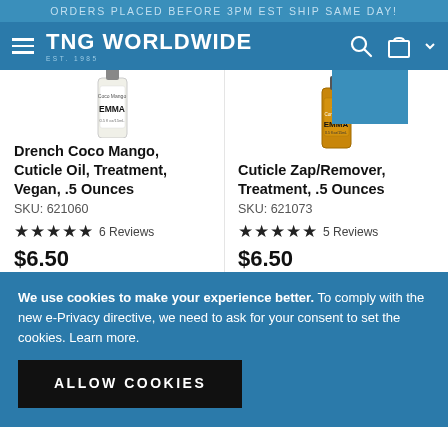ORDERS PLACED BEFORE 3PM EST SHIP SAME DAY!
[Figure (screenshot): TNG Worldwide navigation bar with hamburger menu, logo, search icon, cart icon, and dropdown]
[Figure (photo): Emma Beauty Drench Coco Mango Cuticle Oil bottle, 0.5 fl oz]
Drench Coco Mango, Cuticle Oil, Treatment, Vegan, .5 Ounces
SKU: 621060
★★★★★ 6 Reviews
$6.50
[Figure (photo): Emma Beauty Cuticle Zap/Remover Treatment bottle, 0.5 fl oz, amber colored]
Cuticle Zap/Remover, Treatment, .5 Ounces
SKU: 621073
★★★★★ 5 Reviews
$6.50
We use cookies to make your experience better. To comply with the new e-Privacy directive, we need to ask for your consent to set the cookies. Learn more.
ALLOW COOKIES